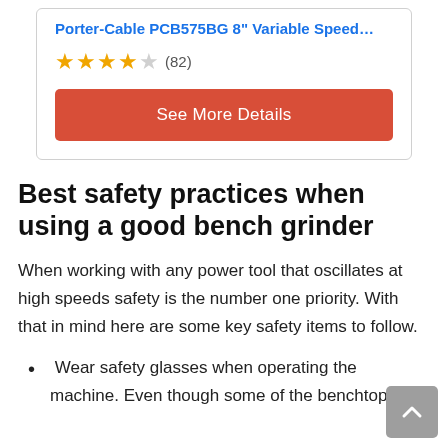Porter-Cable PCB575BG 8" Variable Speed…
[Figure (other): Star rating: 4 out of 5 stars (82 reviews)]
See More Details
Best safety practices when using a good bench grinder
When working with any power tool that oscillates at high speeds safety is the number one priority. With that in mind here are some key safety items to follow.
Wear safety glasses when operating the machine. Even though some of the benchtop